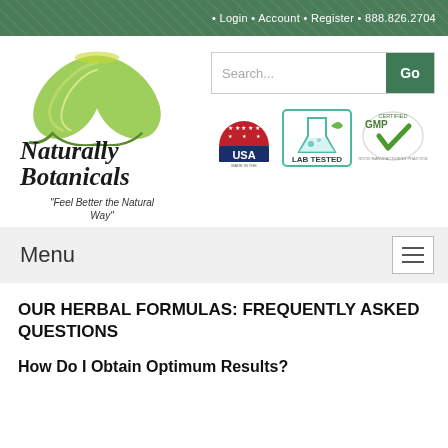• Login • Account • Register • 888.826.2704
[Figure (logo): Naturally Botanicals logo with green leaf and tagline 'Feel Better the Natural Way']
[Figure (screenshot): Search bar with 'Search...' placeholder and green 'Go' button]
[Figure (logo): Made in the USA badge with red semicircle and stars]
[Figure (logo): Lab Tested badge with beaker icon]
[Figure (logo): GMP Certified badge with green checkmark]
Menu
OUR HERBAL FORMULAS: FREQUENTLY ASKED QUESTIONS
How Do I Obtain Optimum Results?